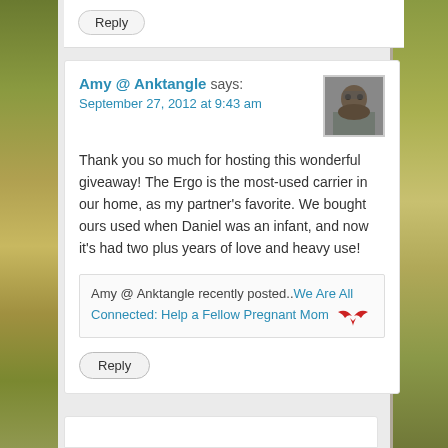Reply
Amy @ Anktangle says:
September 27, 2012 at 9:43 am
Thank you so much for hosting this wonderful giveaway! The Ergo is the most-used carrier in our home, as my partner's favorite. We bought ours used when Daniel was an infant, and now it's had two plus years of love and heavy use!
Amy @ Anktangle recently posted..We Are All Connected: Help a Fellow Pregnant Mom
Reply